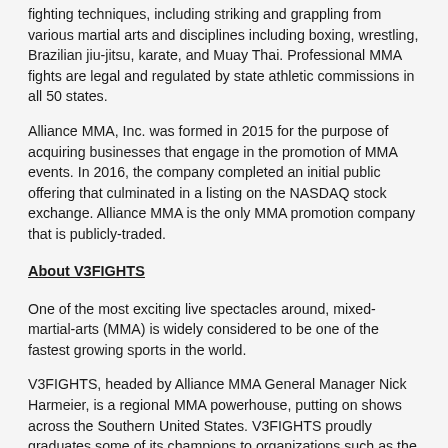fighting techniques, including striking and grappling from various martial arts and disciplines including boxing, wrestling, Brazilian jiu-jitsu, karate, and Muay Thai. Professional MMA fights are legal and regulated by state athletic commissions in all 50 states.
Alliance MMA, Inc. was formed in 2015 for the purpose of acquiring businesses that engage in the promotion of MMA events. In 2016, the company completed an initial public offering that culminated in a listing on the NASDAQ stock exchange. Alliance MMA is the only MMA promotion company that is publicly-traded.
About V3FIGHTS
One of the most exciting live spectacles around, mixed-martial-arts (MMA) is widely considered to be one of the fastest growing sports in the world.
V3FIGHTS, headed by Alliance MMA General Manager Nick Harmeier, is a regional MMA powerhouse, putting on shows across the Southern United States. V3FIGHTS proudly graduates some of its champions to organizations such as the UFC.
Some of the most recognizable alumni to come out of the V3FIGHTS ranks include Bryce Mitchell, Jason Knight, Chase Sherman, Eric Shelton, Eruk Anders, Andrea Lee, Brandon Davis, & more.